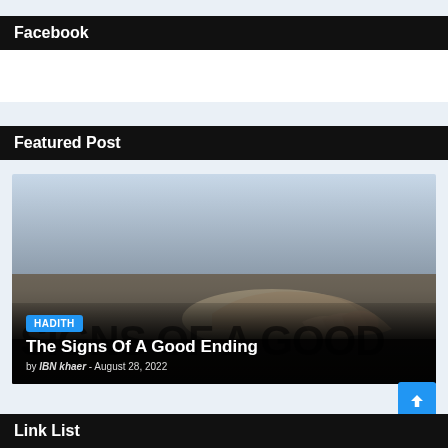Facebook
[Figure (other): Empty white Facebook widget box]
Featured Post
[Figure (photo): Featured post card image showing a hand on a surface with overlaid text 'SIGNS OF A GOOD', a HADITH badge, title 'The Signs Of A Good Ending', and author/date 'by IBN khaer - August 28, 2022']
Link List